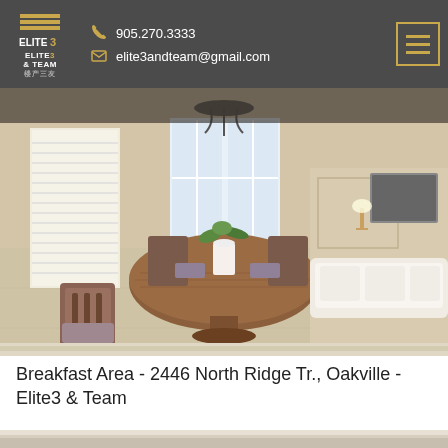Elite3 & Team | 905.270.3333 | elite3andteam@gmail.com
[Figure (photo): Interior photo of a breakfast area/dining room with a round wooden table, ornate metal chairs with grey cushions, large bay windows with white plantation shutters, a chandelier above, a plant centerpiece, and a view into the living room with white sofa and TV in background. Property at 2446 North Ridge Tr., Oakville.]
Breakfast Area - 2446 North Ridge Tr., Oakville - Elite3 & Team
[Figure (photo): Partial view of another interior room photo, showing ceiling and upper wall area, cropped at the bottom of the page.]